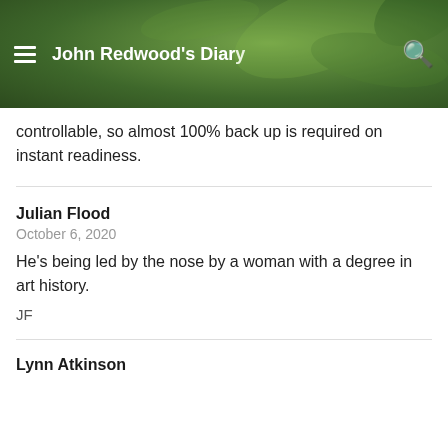John Redwood's Diary
controllable, so almost 100% back up is required on instant readiness.
Julian Flood
October 6, 2020
He's being led by the nose by a woman with a degree in art history.
JF
Lynn Atkinson